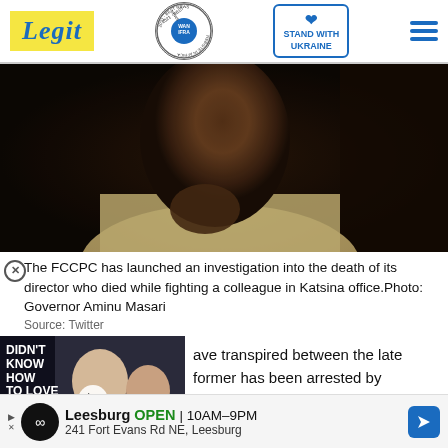Legit | WAN IFRA 2021 Best News Website in Africa | Stand With Ukraine
[Figure (photo): Close-up photo of a man (Governor Aminu Masari) wearing a light-colored traditional robe, hands clasped, looking concerned, against a dark background.]
The FCCPC has launched an investigation into the death of its director who died while fighting a colleague in Katsina office.Photo: Governor Aminu Masari
Source: Twitter
[Figure (photo): Video ad overlay showing a couple with text 'DIDN'T KNOW HOW TO LOVE' and a play button]
ave transpired between the late former has been arrested by command.
[Figure (other): Bottom advertisement: Leesburg OPEN 10AM-9PM, 241 Fort Evans Rd NE, Leesburg with infinity logo and navigation arrow]